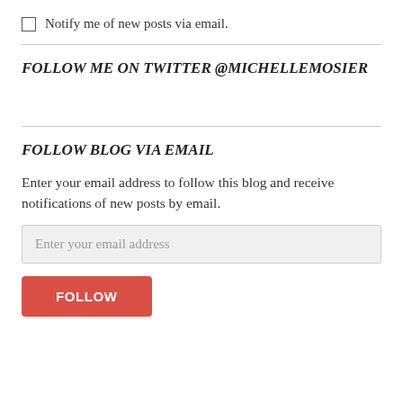Notify me of new posts via email.
FOLLOW ME ON TWITTER @MICHELLEMOSIER
FOLLOW BLOG VIA EMAIL
Enter your email address to follow this blog and receive notifications of new posts by email.
Enter your email address
FOLLOW